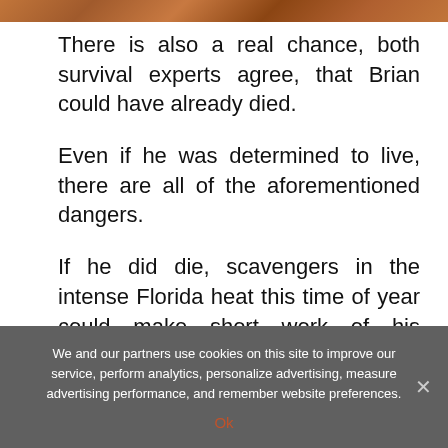[Figure (photo): Partial top strip showing reddish-brown sandy/soil texture, likely an outdoor scene]
There is also a real chance, both survival experts agree, that Brian could have already died.
Even if he was determined to live, there are all of the aforementioned dangers.
If he did die, scavengers in the intense Florida heat this time of year could make short work of his remains.
We and our partners use cookies on this site to improve our service, perform analytics, personalize advertising, measure advertising performance, and remember website preferences.
Ok